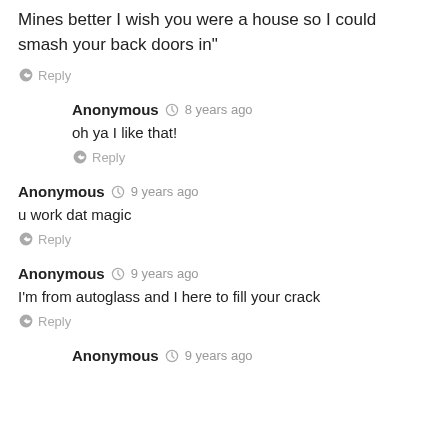Mines better  I wish you were a house so I could smash your back doors in"
Reply
Anonymous  8 years ago
oh ya I like that!
Reply
Anonymous  9 years ago
u work dat magic
Reply
Anonymous  9 years ago
I'm from autoglass and I here to fill your crack
Reply
Anonymous  9 years ago